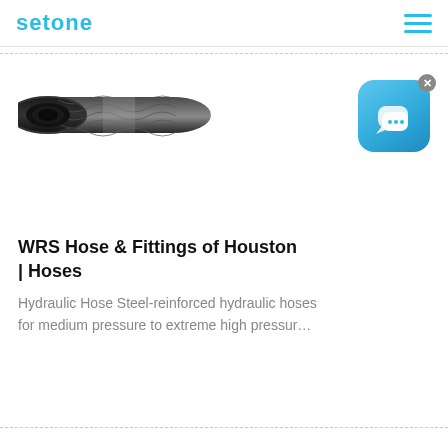setone
[Figure (photo): A dark grey steel-reinforced hydraulic hose shown diagonally, with visible spiral reinforcement layers and an open end showing the inner bore.]
[Figure (screenshot): A blue rounded-square chat/messaging app icon with two overlapping speech bubble icons in white, and a small grey close (x) button in the top-right corner.]
WRS Hose & Fittings of Houston | Hoses
Hydraulic Hose Steel-reinforced hydraulic hoses for medium pressure to extreme high pressur…